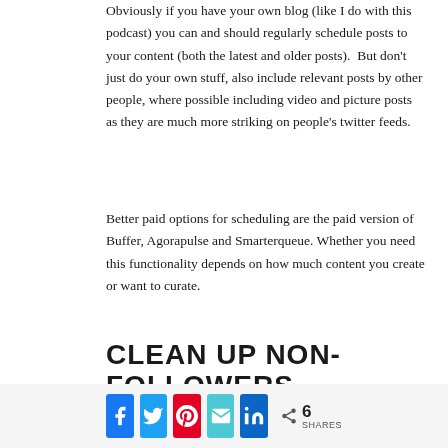Obviously if you have your own blog (like I do with this podcast) you can and should regularly schedule posts to your content (both the latest and older posts).  But don't just do your own stuff, also include relevant posts by other people, where possible including video and picture posts as they are much more striking on people's twitter feeds.
Better paid options for scheduling are the paid version of Buffer, Agorapulse and Smarterqueue. Whether you need this functionality depends on how much content you create or want to curate.
CLEAN UP NON-FOLLOWERS
[Figure (infographic): Social share bar with Facebook, Twitter, Pinterest, Email, and LinkedIn buttons, plus a share count showing 6 SHARES]